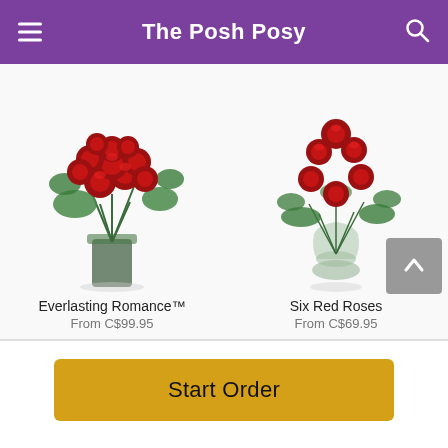The Posh Posy
[Figure (photo): Large bouquet of red roses with green foliage in a glass vase — Everlasting Romance]
Everlasting Romance™
From C$99.95
[Figure (photo): Six red roses with fern greenery in a glass vase — Six Red Roses]
Six Red Roses
From C$69.95
Start Order